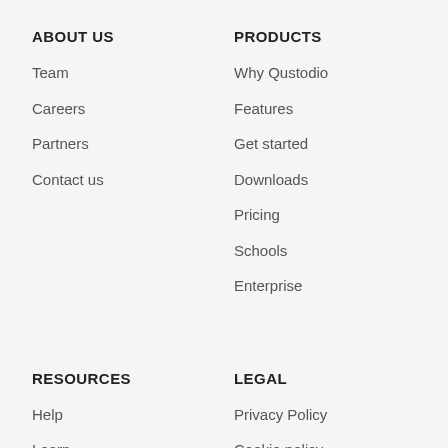ABOUT US
PRODUCTS
Team
Why Qustodio
Careers
Features
Partners
Get started
Contact us
Downloads
Pricing
Schools
Enterprise
RESOURCES
LEGAL
Help
Privacy Policy
Learn
Cookie policy